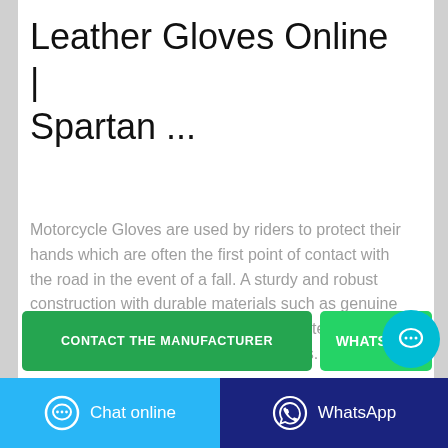Leather Gloves Online | Spartan ...
Motorcycle Gloves are used by riders to protect their hands which are often the first point of contact with the road in the event of a fall. A sturdy and robust construction with durable materials such as genuine leather, Clarino and molded knuckle protection are standard features of our popular models.
[Figure (screenshot): Green button labeled CONTACT THE MANUFACTURER and green button labeled WHATSAPP with a cyan circular chat bubble icon overlapping to the right]
[Figure (screenshot): Bottom bar with two buttons: cyan Chat online button on left with speech bubble icon, and dark blue WhatsApp button on right with WhatsApp icon]